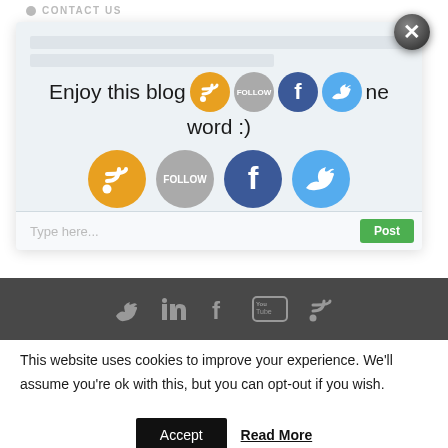CONTACT US
[Figure (screenshot): Pop-up overlay showing social sharing icons (RSS, Follow, Facebook, Twitter) with text 'Enjoy this blog post? become word :)' and a comment input bar at the bottom. A close button (X) is in the top-right corner.]
[Figure (screenshot): Dark footer band with social media icon links: Twitter, LinkedIn, Facebook, YouTube, RSS]
This website uses cookies to improve your experience. We'll assume you're ok with this, but you can opt-out if you wish.
Accept   Read More